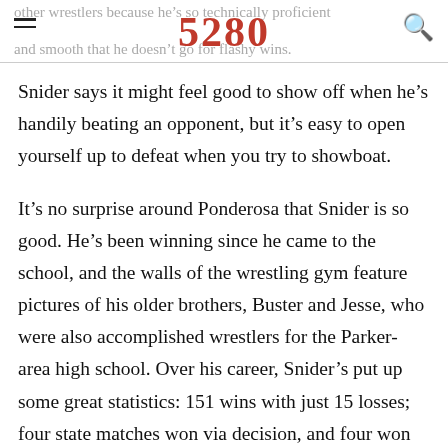5280
other wrestlers because he's so technically proficient and smooth that he doesn't go for flashy wins.
Snider says it might feel good to show off when he's handily beating an opponent, but it's easy to open yourself up to defeat when you try to showboat.
It's no surprise around Ponderosa that Snider is so good. He's been winning since he came to the school, and the walls of the wrestling gym feature pictures of his older brothers, Buster and Jesse, who were also accomplished wrestlers for the Parker-area high school. Over his career, Snider's put up some great statistics: 151 wins with just 15 losses; four state matches won via decision, and four won by pin;